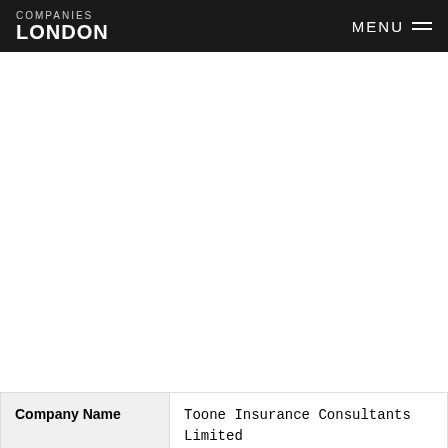COMPANIES LONDON  MENU
| Company Name | Toone Insurance Consultants Limited |
| --- | --- |